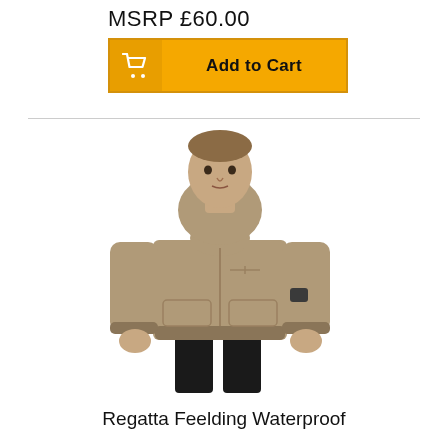MSRP £60.00
[Figure (other): Yellow 'Add to Cart' button with shopping cart icon on the left and bold text 'Add to Cart' on the right]
[Figure (photo): A man wearing a tan/khaki hooded waterproof bomber jacket with black trousers, standing against a white background]
Regatta Feelding Waterproof